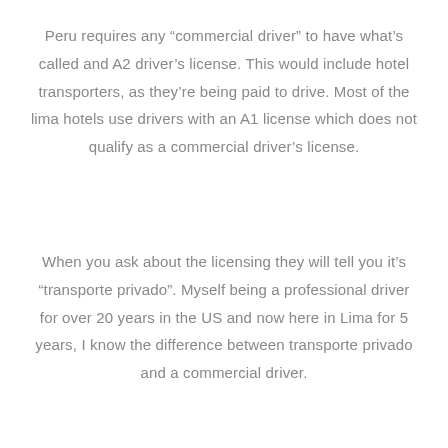Peru requires any “commercial driver” to have what’s called and A2 driver’s license. This would include hotel transporters, as they’re being paid to drive. Most of the lima hotels use drivers with an A1 license which does not qualify as a commercial driver’s license.
When you ask about the licensing they will tell you it’s “transporte privado”. Myself being a professional driver for over 20 years in the US and now here in Lima for 5 years, I know the difference between transporte privado and a commercial driver.